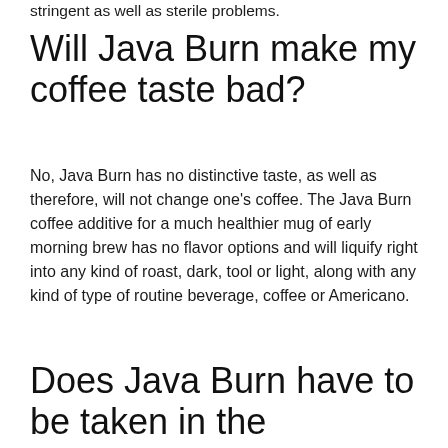stringent as well as sterile problems.
Will Java Burn make my coffee taste bad?
No, Java Burn has no distinctive taste, as well as therefore, will not change one’s coffee. The Java Burn coffee additive for a much healthier mug of early morning brew has no flavor options and will liquify right into any kind of roast, dark, tool or light, along with any kind of type of routine beverage, coffee or Americano.
Does Java Burn have to be taken in the morning?